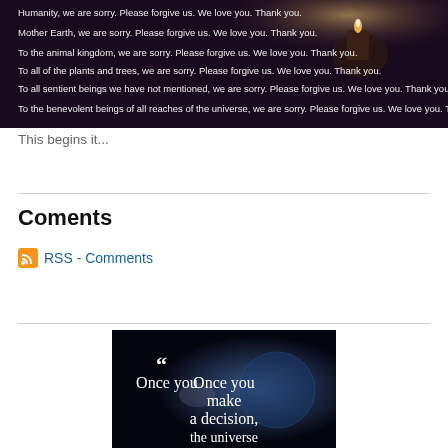[Figure (photo): Dark atmospheric image with candle light and white text lines reading: Humanity, we are sorry. Please forgive us. We love you. Thank you. / Mother Earth, we are sorry. Please forgive us. We love you. Thank you. / To the animal kingdom, we are sorry. Please forgive us. We love you. Thank you. / To all of the plants and trees, we are sorry. Please forgive us. We love you. Thank you. / To all sentient beings we have not mentioned, we are sorry. Please forgive us. We love you. Thank you. / To the benevolent beings of all reaches of the universe, we are sorry. Please forgive us. We love you. Thank you.]
This begins it...
Coments
RSS - Comments
[Figure (photo): Dark image with Earth visible from space and large white serif text quote beginning: Once you make a decision, the universe...]